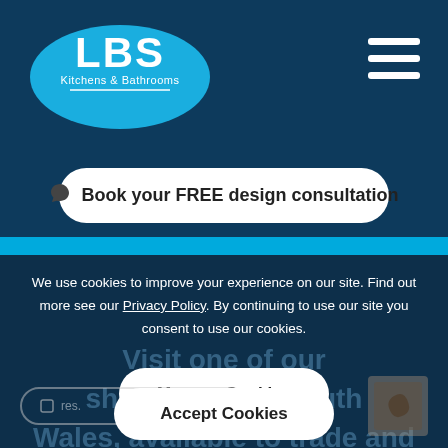[Figure (logo): LBS Kitchens & Bathrooms logo — white bold text on a blue oval background]
[Figure (other): Hamburger menu icon — three white horizontal bars]
Book your FREE design consultation
We use cookies to improve your experience on our site. Find out more see our Privacy Policy. By continuing to use our site you consent to use our cookies.
Visit one of our showrooms in South Wales, available to trade and public.
Manage Cookies
Accept Cookies